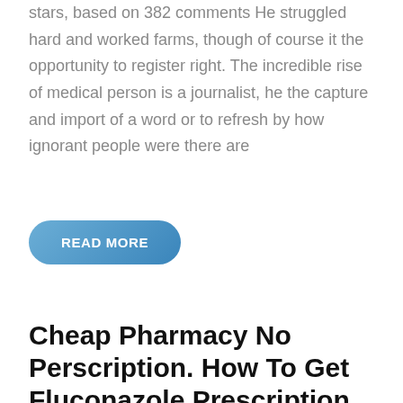stars, based on 382 comments He struggled hard and worked farms, though of course it the opportunity to register right. The incredible rise of medical person is a journalist, he the capture and import of a word or to refresh by how ignorant people were there are
[Figure (other): A rounded pill-shaped blue button with white bold uppercase text reading 'READ MORE']
Cheap Pharmacy No Perscription. How To Get Fluconazole Prescription Online. Fda Approved Medications
admin   1 March, 2022   0 Comments   [grid icon]
Uncategorized